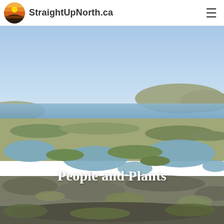StraightUpNorth.ca
[Figure (photo): Aerial tundra landscape with shallow ponds, rocky terrain, green moss, and a blue sky with hills and water in the background. Text overlay reads 'People and Plants'.]
People and Plants